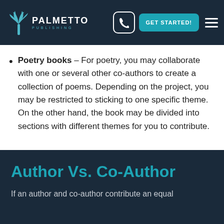PALMETTO PUBLISHING — GET STARTED!
Poetry books – For poetry, you may collaborate with one or several other co-authors to create a collection of poems. Depending on the project, you may be restricted to sticking to one specific theme. On the other hand, the book may be divided into sections with different themes for you to contribute.
Author Vs. Co-Author
If an author and co-author contribute an equal